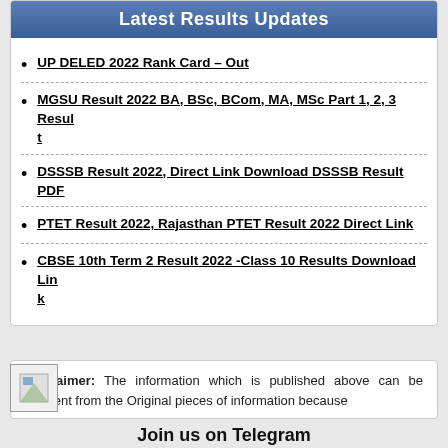Latest Results Updates
UP DELED 2022 Rank Card – Out
MGSU Result 2022 BA, BSc, BCom, MA, MSc Part 1, 2, 3 Result
DSSSB Result 2022, Direct Link Download DSSSB Result PDF
PTET Result 2022, Rajasthan PTET Result 2022 Direct Link
CBSE 10th Term 2 Result 2022 -Class 10 Results Download Link
Disclaimer: The information which is published above can be different from the Original pieces of information because
[Figure (photo): Small image placeholder icon]
Join us on Telegram